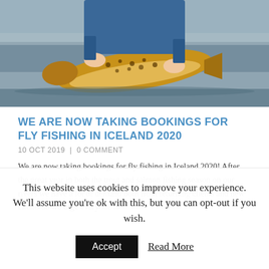[Figure (photo): Person standing in water holding a large brown trout fish, wearing blue jacket, with water and shoreline in background]
WE ARE NOW TAKING BOOKINGS FOR FLY FISHING IN ICELAND 2020
10 OCT 2019  |  0 COMMENT
We are now taking bookings for fly fishing in Iceland 2020! After the great year in both the trout and salmon fishing season on our rivers we have a lot of demand both from returning clients and new clients so we urge everyone to
This website uses cookies to improve your experience. We'll assume you're ok with this, but you can opt-out if you wish.